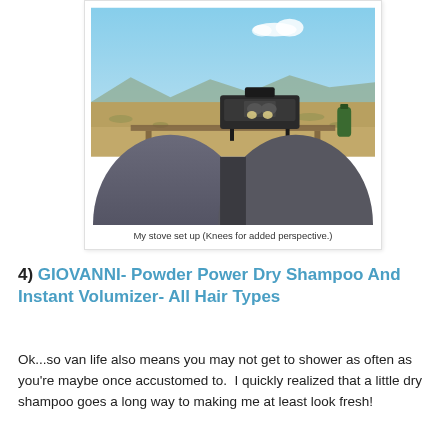[Figure (photo): Outdoor camping photo taken from a seated perspective showing a person's knees in dark pants in the foreground, a portable camp stove on a table in the middle ground, and a wide open desert landscape with mountains and blue sky in the background.]
My stove set up (Knees for added perspective.)
4) GIOVANNI- Powder Power Dry Shampoo And Instant Volumizer- All Hair Types
Ok...so van life also means you may not get to shower as often as you're maybe once accustomed to.  I quickly realized that a little dry shampoo goes a long way to making me at least look fresh!